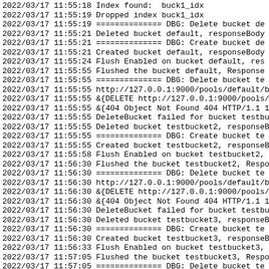2022/03/17 11:55:18 Index found:  buck1_idx
2022/03/17 11:55:19 Dropped index buck1_idx
2022/03/17 11:55:19 ============== DBG: Delete bucket de
2022/03/17 11:55:21 Deleted bucket default, responseBody
2022/03/17 11:55:21 ============== DBG: Create bucket de
2022/03/17 11:55:21 Created bucket default, responseBody
2022/03/17 11:55:24 Flush Enabled on bucket default, res
2022/03/17 11:55:55 Flushed the bucket default, Response
2022/03/17 11:55:55 ============== DBG: Delete bucket te
2022/03/17 11:55:55 http://127.0.0.1:9000/pools/default/b
2022/03/17 11:55:55 &{DELETE http://127.0.0.1:9000/pools/
2022/03/17 11:55:55 &{404 Object Not Found 404 HTTP/1.1 1
2022/03/17 11:55:55 DeleteBucket failed for bucket testbu
2022/03/17 11:55:55 Deleted bucket testbucket2, responseB
2022/03/17 11:55:55 ============== DBG: Create bucket te
2022/03/17 11:55:55 Created bucket testbucket2, responseB
2022/03/17 11:55:58 Flush Enabled on bucket testbucket2,
2022/03/17 11:56:30 Flushed the bucket testbucket2, Respo
2022/03/17 11:56:30 ============== DBG: Delete bucket te
2022/03/17 11:56:30 http://127.0.0.1:9000/pools/default/b
2022/03/17 11:56:30 &{DELETE http://127.0.0.1:9000/pools/
2022/03/17 11:56:30 &{404 Object Not Found 404 HTTP/1.1 1
2022/03/17 11:56:30 DeleteBucket failed for bucket testbu
2022/03/17 11:56:30 Deleted bucket testbucket3, responseB
2022/03/17 11:56:30 ============== DBG: Create bucket te
2022/03/17 11:56:30 Created bucket testbucket3, responseB
2022/03/17 11:56:33 Flush Enabled on bucket testbucket3,
2022/03/17 11:57:05 Flushed the bucket testbucket3, Respo
2022/03/17 11:57:05 ============== DBG: Delete bucket te
2022/03/17 11:57:05 http://127.0.0.1:9000/pools/default/b